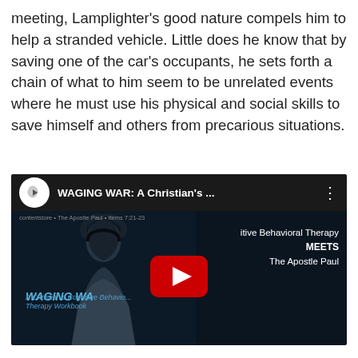meeting, Lamplighter's good nature compels him to help a stranded vehicle. Little does he know that by saving one of the car's occupants, he sets forth a chain of what to him seem to be unrelated events where he must use his physical and social skills to save himself and others from precarious situations.
[Figure (screenshot): Embedded YouTube video thumbnail showing 'WAGING WAR: A Christian's ...' with a play button overlay. The thumbnail shows a person standing in a dark setting. Left side shows text 'WAGING WAR A Christian's Cognitive Behavioral Therapy Workbook' and right side shows 'itive Behavioral Therapy MEETS The Apostle Paul'.]